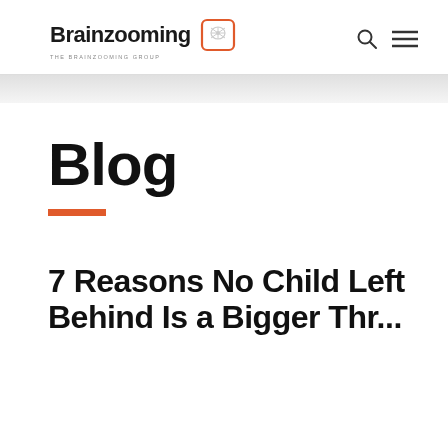Brainzooming THE BRAINZOOMING GROUP
Blog
7 Reasons No Child Left Behind Is a Bigger Threat...